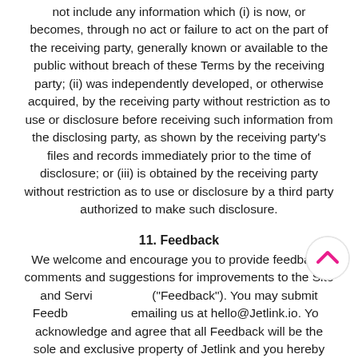not include any information which (i) is now, or becomes, through no act or failure to act on the part of the receiving party, generally known or available to the public without breach of these Terms by the receiving party; (ii) was independently developed, or otherwise acquired, by the receiving party without restriction as to use or disclosure before receiving such information from the disclosing party, as shown by the receiving party's files and records immediately prior to the time of disclosure; or (iii) is obtained by the receiving party without restriction as to use or disclosure by a third party authorized to make such disclosure.
11. Feedback
We welcome and encourage you to provide feedback, comments and suggestions for improvements to the Site and Services ("Feedback"). You may submit Feedback by emailing us at hello@Jetlink.io. You acknowledge and agree that all Feedback will be the sole and exclusive property of Jetlink and you hereby irrevocably assign to Jetlink and agree to irrevocably assign to Jetlink all of your right, title, and interest in and to all Feedback, including without